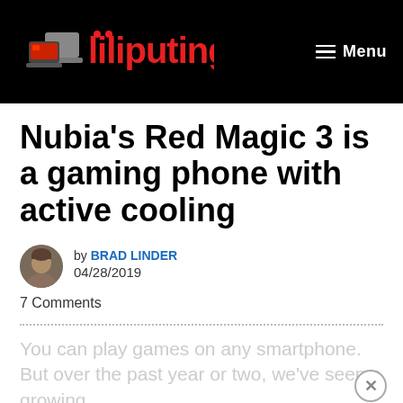Liliputing — Menu
Nubia's Red Magic 3 is a gaming phone with active cooling
by BRAD LINDER
04/28/2019
7 Comments
You can play games on any smartphone. But over the past year or two, we've seen a growing